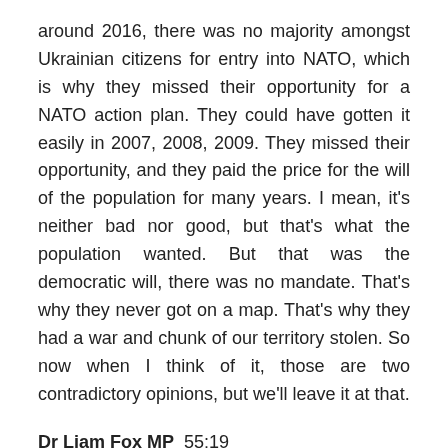around 2016, there was no majority amongst Ukrainian citizens for entry into NATO, which is why they missed their opportunity for a NATO action plan. They could have gotten it easily in 2007, 2008, 2009. They missed their opportunity, and they paid the price for the will of the population for many years. I mean, it's neither bad nor good, but that's what the population wanted. But that was the democratic will, there was no mandate. That's why they never got on a map. That's why they had a war and chunk of our territory stolen. So now when I think of it, those are two contradictory opinions, but we'll leave it at that.
Dr Liam Fox MP  55:19
We've had a number of questions about sanctions are targeting probably best summed up by Dennis Kaufman, who says that, when the west and the EU is sanctioning or Belarus, those are the only...